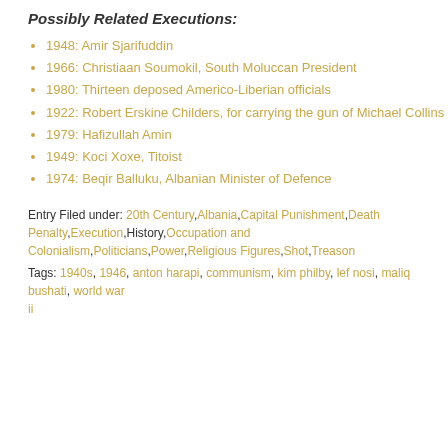Possibly Related Executions:
1948: Amir Sjarifuddin
1966: Christiaan Soumokil, South Moluccan President
1980: Thirteen deposed Americo-Liberian officials
1922: Robert Erskine Childers, for carrying the gun of Michael Collins
1979: Hafizullah Amin
1949: Koci Xoxe, Titoist
1974: Beqir Balluku, Albanian Minister of Defence
Entry Filed under: 20th Century,Albania,Capital Punishment,Death Penalty,Execution,History,Occupation and Colonialism,Politicians,Power,Religious Figures,Shot,Treason
Tags: 1940s, 1946, anton harapi, communism, kim philby, lef nosi, maliq bushati, world war ii